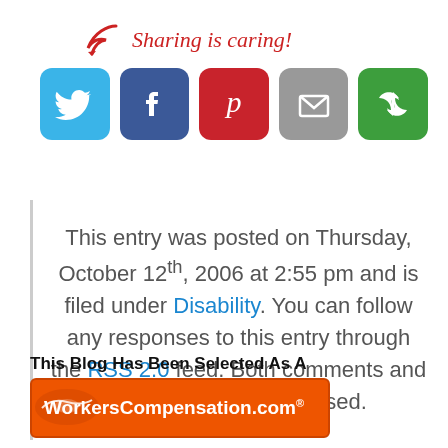[Figure (infographic): Sharing is caring! text with arrow and social media icons: Twitter (blue), Facebook (dark blue), Pinterest (red), Email (gray), Share/recycle (green)]
This entry was posted on Thursday, October 12th, 2006 at 2:55 pm and is filed under Disability. You can follow any responses to this entry through the RSS 2.0 feed. Both comments and pings are currently closed.
This Blog Has Been Selected As A
[Figure (logo): WorkersCompensation.com orange banner logo with US map graphic]